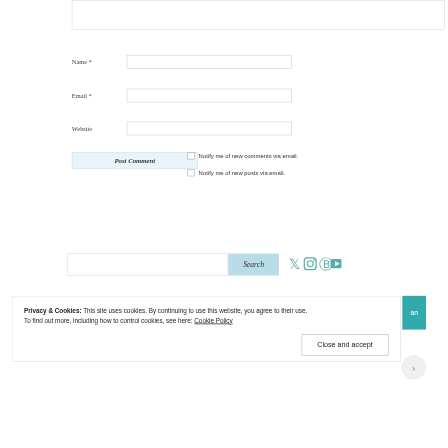[Figure (screenshot): Partial view of a textarea input box at top of page]
Name *
Email *
Website
Post Comment
Notify me of new comments via email.
Notify me of new posts via email.
[Figure (screenshot): Search input box with Search button and social media icons (Twitter, Instagram, Pinterest, YouTube) in teal color]
Privacy & Cookies: This site uses cookies. By continuing to use this website, you agree to their use.
To find out more, including how to control cookies, see here: Cookie Policy
Close and accept